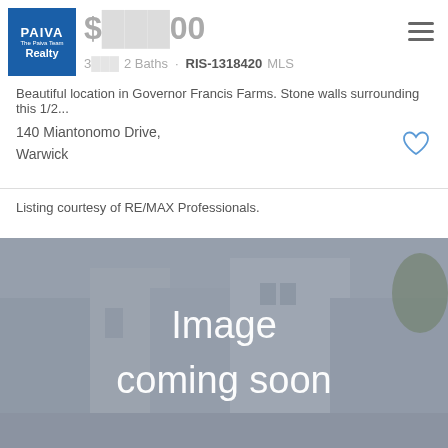[Figure (logo): Paiva Realty logo — blue square with white text reading PAIVA, The Paiva Team, Realty]
$[price redacted]00
3[redacted] 2 Baths · RIS-1318420 MLS
Beautiful location in Governor Francis Farms. Stone walls surrounding this 1/2...
140 Miantonomo Drive,
Warwick
Listing courtesy of RE/MAX Professionals.
[Figure (photo): Image coming soon placeholder — grey house exterior background with semi-transparent overlay and large white text reading 'Image coming soon']